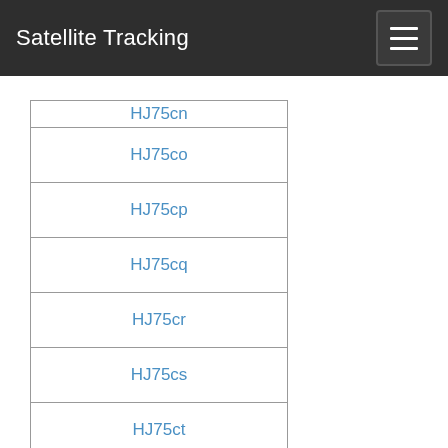Satellite Tracking
HJ75co
HJ75cp
HJ75cq
HJ75cr
HJ75cs
HJ75ct
HJ75cu
HJ75cv
HJ75cw
HJ75cx
HJ75da
HJ75db
HJ75dc
HJ75dd
HJ75de
HJ75df
HJ75dg